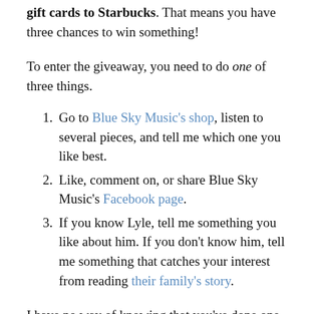gift cards to Starbucks. That means you have three chances to win something!
To enter the giveaway, you need to do one of three things.
Go to Blue Sky Music's shop, listen to several pieces, and tell me which one you like best.
Like, comment on, or share Blue Sky Music's Facebook page.
If you know Lyle, tell me something you like about him. If you don't know him, tell me something that catches your interest from reading their family's story.
I have no way of knowing that you've done one of these things unless you comment here or on my Facebook